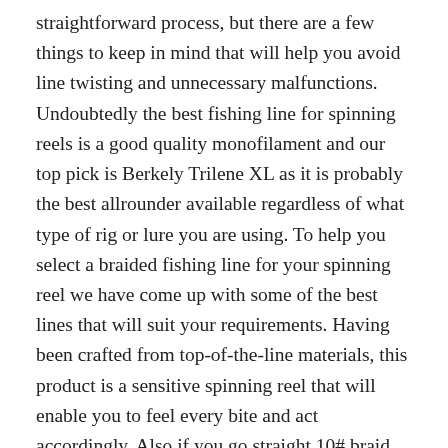straightforward process, but there are a few things to keep in mind that will help you avoid line twisting and unnecessary malfunctions. Undoubtedly the best fishing line for spinning reels is a good quality monofilament and our top pick is Berkely Trilene XL as it is probably the best allrounder available regardless of what type of rig or lure you are using. To help you select a braided fishing line for your spinning reel we have come up with some of the best lines that will suit your requirements. Having been crafted from top-of-the-line materials, this product is a sensitive spinning reel that will enable you to feel every bite and act accordingly. Also if you go straight 10# braid, you will get the most natural presentation with the light weights. Summing Up If you want to get the maximum benefit and pleasure from fishing, then the acquisition of a braided line â¦ Likewise, you need to think about spending your money to purchase Seaguar Red Label 100% Fluorocarbon 200 Yard Fishing Line, if you are